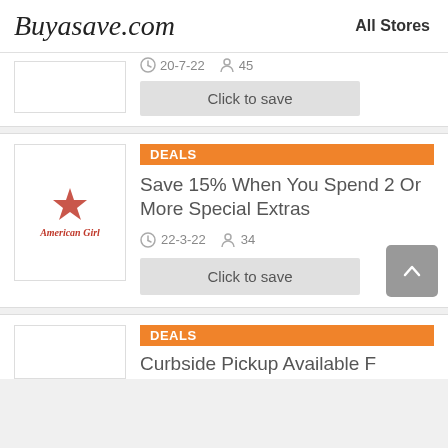Buyasave.com   All Stores
20-7-22   45   Click to save
[Figure (screenshot): American Girl store logo in a white bordered box]
DEALS
Save 15% When You Spend 2 Or More Special Extras
22-3-22   34   Click to save
DEALS
Curbside Pickup Available F...